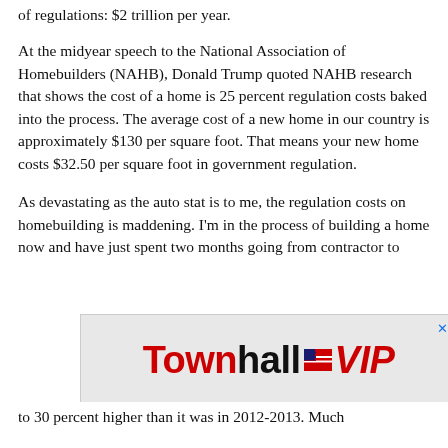of regulations: $2 trillion per year.
At the midyear speech to the National Association of Homebuilders (NAHB), Donald Trump quoted NAHB research that shows the cost of a home is 25 percent regulation costs baked into the process. The average cost of a new home in our country is approximately $130 per square foot. That means your new home costs $32.50 per square foot in government regulation.
As devastating as the auto stat is to me, the regulation costs on homebuilding is maddening. I'm in the process of building a home now and have just spent two months going from contractor to
[Figure (logo): Townhall VIP advertisement banner with red and black text and American flag icon]
to 30 percent higher than it was in 2012-2013. Much